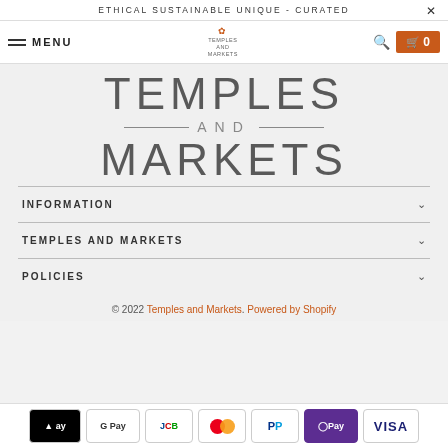ETHICAL SUSTAINABLE UNIQUE - CURATED
[Figure (logo): Temples and Markets website navigation bar with hamburger menu, MENU text, Temples and Markets small logo, search icon, and orange cart button with 0 count]
[Figure (logo): Large Temples and Markets brand logo with decorative lines around AND]
INFORMATION
TEMPLES AND MARKETS
POLICIES
© 2022 Temples and Markets. Powered by Shopify
[Figure (other): Payment method icons: Apple Pay, Google Pay, JCB, Mastercard, PayPal, OPay, Visa]